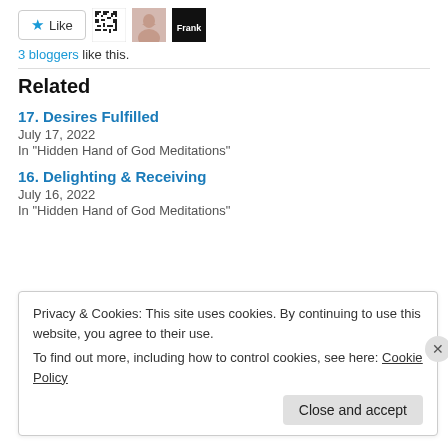3 bloggers like this.
Related
17. Desires Fulfilled
July 17, 2022
In "Hidden Hand of God Meditations"
16. Delighting & Receiving
July 16, 2022
In "Hidden Hand of God Meditations"
Privacy & Cookies: This site uses cookies. By continuing to use this website, you agree to their use.
To find out more, including how to control cookies, see here: Cookie Policy